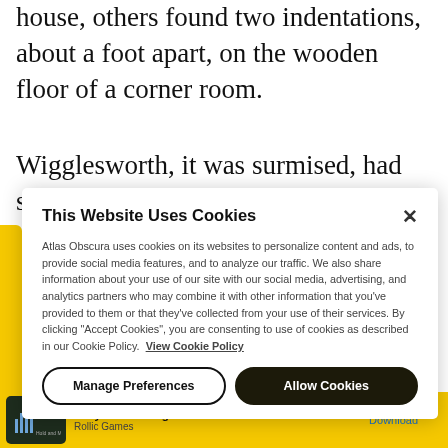house, others found two indentations, about a foot apart, on the wooden floor of a corner room.
Wigglesworth, it was surmised, had spent a lot of time there knelt in prayer.
This Website Uses Cookies
Atlas Obscura uses cookies on its websites to personalize content and ads, to provide social media features, and to analyze our traffic. We also share information about your use of our site with our social media, advertising, and analytics partners who may combine it with other information that you've provided to them or that they've collected from your use of their services. By clicking "Accept Cookies", you are consenting to use of cookies as described in our Cookie Policy. View Cookie Policy
Manage Preferences
Allow Cookies
They Are Coming!
Rollic Games
Download